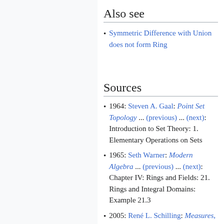Also see
Symmetric Difference with Union does not form Ring
Sources
1964: Steven A. Gaal: Point Set Topology ... (previous) ... (next): Introduction to Set Theory: 1. Elementary Operations on Sets
1965: Seth Warner: Modern Algebra ... (previous) ... (next): Chapter IV: Rings and Fields: 21. Rings and Integral Domains: Example 21.3
2005: René L. Schilling: Measures, Integrals and Martingales ... (previous) ...